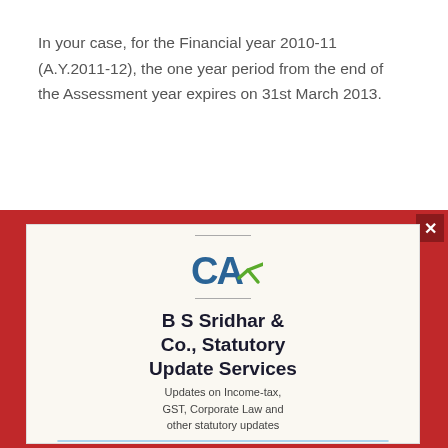In your case, for the Financial year 2010-11 (A.Y.2011-12), the one year period from the end of the Assessment year expires on 31st March 2013.
[Figure (other): Subscription modal popup with CA logo, firm name 'B S Sridhar & Co., Statutory Update Services', subtitle 'Updates on Income-tax, GST, Corporate Law and other statutory updates', email input field, Subscribe button, and Substack branding. Red background with white card. Close X button in top right corner.]